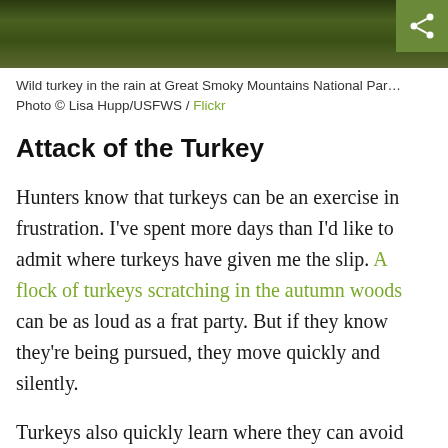[Figure (photo): Wild turkey in the rain at Great Smoky Mountains National Park, dark blurry background with green foliage]
Wild turkey in the rain at Great Smoky Mountains National Park
Photo © Lisa Hupp/USFWS / Flickr
Attack of the Turkey
Hunters know that turkeys can be an exercise in frustration. I've spent more days than I'd like to admit where turkeys have given me the slip. A flock of turkeys scratching in the autumn woods can be as loud as a frat party. But if they know they're being pursued, they move quickly and silently.
Turkeys also quickly learn where they can avoid hunters. And few places are better for safety than suburbs. Many suburban areas are a nice mix of